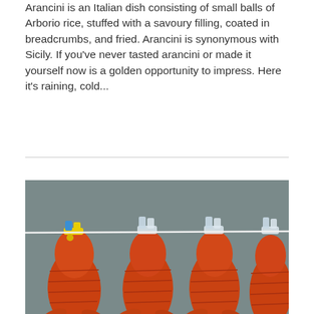Arancini is an Italian dish consisting of small balls of Arborio rice, stuffed with a savoury filling, coated in breadcrumbs, and fried. Arancini is synonymous with Sicily. If you've never tasted arancini or made it yourself now is a golden opportunity to impress. Here it's raining, cold...
[Figure (photo): Lobster tails clipped with clothespins (one yellow and blue, others clear/white) hanging on a wire, photographed against a gray background.]